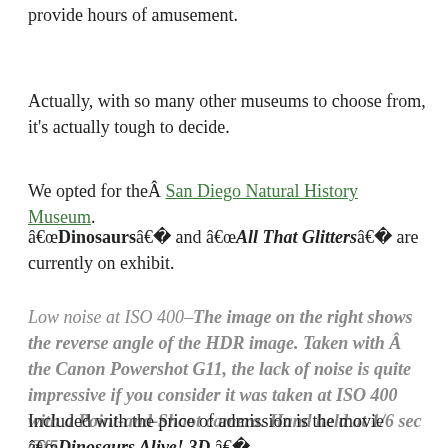provide hours of amusement.
Actually, with so many other museums to choose from, it's actually tough to decide.
We opted for theÂ San Diego Natural History Museum.
“Dinosaurs” and “All That Glitters” are currently on exhibit.
Low noise at ISO 400–The image on the right shows the reverse angle of the HDR image. Taken with Â the Canon Powershot G11, the lack of noise is quite impressive if you consider it was taken at ISO 400 with a Point-and-Shoot camera. Hand held at 1/6 sec @f5.
Included with the price of admission is the movie “Dinosaurs Alive! 3D.”